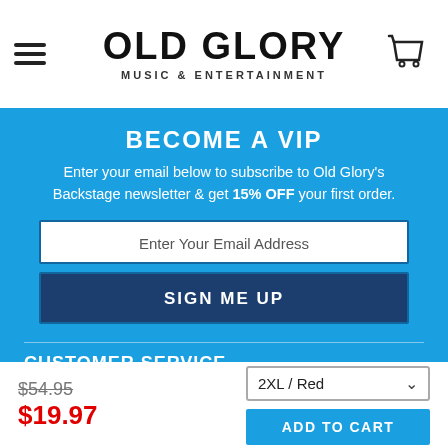OLD GLORY MUSIC & ENTERTAINMENT
BECOME A VIP
Enter your email below to subscribe to Old Glory's Backstage newsletter & get 15% OFF your first order.
Enter Your Email Address
SIGN ME UP
CUSTOMER SERVICE
INFORMATION
$54.95
$19.97
2XL / Red
ADD TO CART